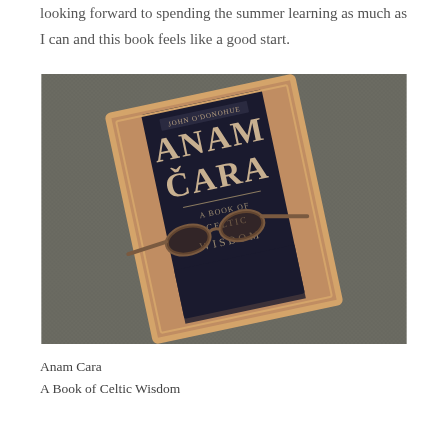looking forward to spending the summer learning as much as I can and this book feels like a good start.
[Figure (photo): A photograph of the book 'Anam Cara: A Book of Celtic Wisdom' lying at a slight angle on a dark grey textured fabric surface, with a pair of wooden-framed glasses resting on top of the book cover.]
Anam Cara
A Book of Celtic Wisdom